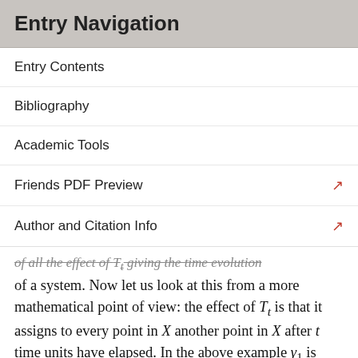Entry Navigation
Entry Contents
Bibliography
Academic Tools
Friends PDF Preview
Author and Citation Info
of a system. Now let us look at this from a more mathematical point of view: the effect of T_t is that it assigns to every point in X another point in X after t time units have elapsed. In the above example γ₁ is mapped onto γ₂ under φ_t after t = 5 seconds. Hence, from a mathematical point of view the time evolution of a system consists in a mapping of X onto itself, which is why the above definition takes T_t to be a family of mappings of X onto itself. Such a mapping is a prescription that tells you for every point x in X on which other point in X it is mapped (from now on we use x to denote any point in X